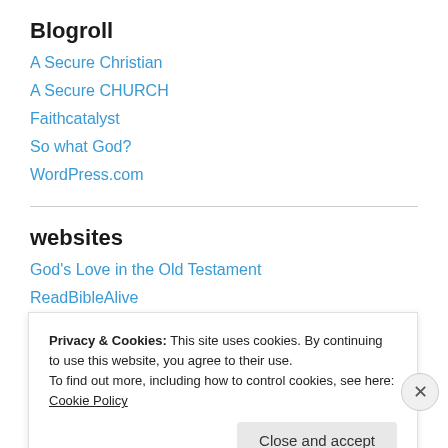Blogroll
A Secure Christian
A Secure CHURCH
Faithcatalyst
So what God?
WordPress.com
websites
God's Love in the Old Testament
ReadBibleAlive
The Judgments of a Loving God
Privacy & Cookies: This site uses cookies. By continuing to use this website, you agree to their use.
To find out more, including how to control cookies, see here: Cookie Policy
Close and accept